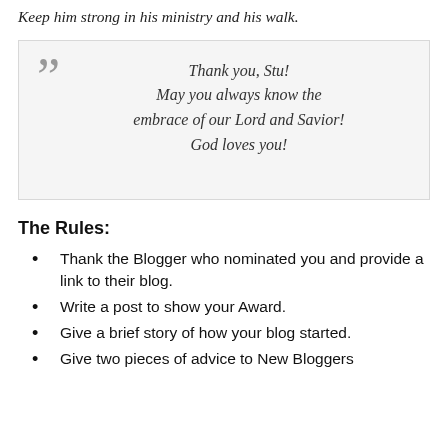Keep him strong in his ministry and his walk.
Thank you, Stu! May you always know the embrace of our Lord and Savior! God loves you!
The Rules:
Thank the Blogger who nominated you and provide a link to their blog.
Write a post to show your Award.
Give a brief story of how your blog started.
Give two pieces of advice to New Bloggers